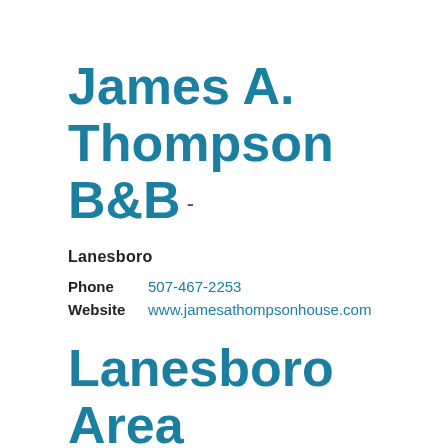James A. Thompson B&B -
Lanesboro
Phone  507-467-2253
Website  www.jamesathompsonhouse.com
Lanesboro Area Chamber of Commerce &